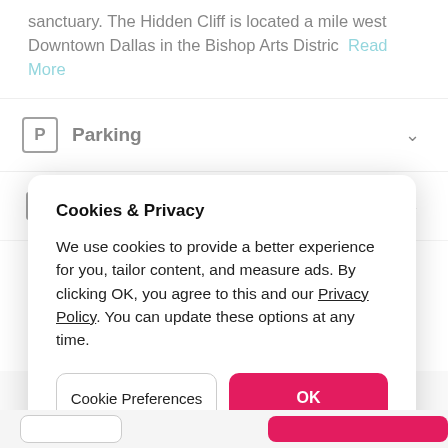sanctuary.  The Hidden Cliff is located a mile west Downtown Dallas in the Bishop Arts District Read More
Parking
Host rules
Cookies & Privacy
We use cookies to provide a better experience for you, tailor content, and measure ads. By clicking OK, you agree to this and our Privacy Policy. You can update these options at any time.
Cookie Preferences
OK